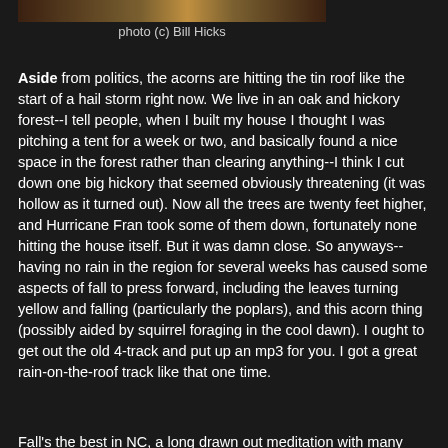[Figure (photo): Partial bottom edge of a photograph, cropped at the top of the page]
photo (c) Bill Hicks
Aside from politics, the acorns are hitting the tin roof like the start of a hail storm right now. We live in an oak and hickory forest--I tell people, when I built my house I thought I was pitching a tent for a week or two, and basically found a nice space in the forest rather than clearing anything--I think I cut down one big hickory that seemed obviously threatening (it was hollow as it turned out). Now all the trees are twenty feet higher, and Hurricane Fran took some of them down, fortunately none hitting the house itself. But it was damn close. So anyways--having no rain in the region for several weeks has caused some aspects of fall to press forward, including the leaves turning yellow and falling (particularly the poplars), and this acorn thing (possibly aided by squirrel foraging in the cool dawn). I ought to get out the old 4-track and put up an mp3 for you. I got a great rain-on-the-roof track like that one time.
Fall's the best in NC, a long drawn out meditation with many